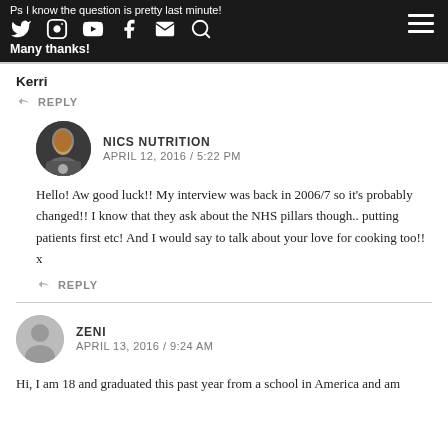Ps I know the question is pretty last minute!
Many thanks!
Kerri
REPLY
NICS NUTRITION
APRIL 12, 2016 / 5:22 PM
Hello! Aw good luck!! My interview was back in 2006/7 so it’s probably changed!! I know that they ask about the NHS pillars though.. putting patients first etc! And I would say to talk about your love for cooking too!! x
REPLY
ZENI
APRIL 13, 2016 / 9:24 AM
Hi, I am 18 and graduated this past year from a school in America and am